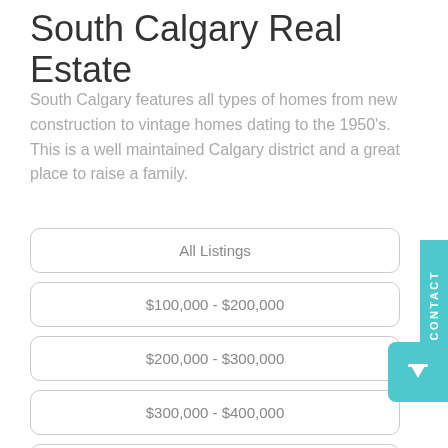South Calgary Real Estate
South Calgary features all types of homes from new construction to vintage homes dating to the 1950's. This is a well maintained Calgary district and a great place to raise a family.
All Listings
$100,000 - $200,000
$200,000 - $300,000
$300,000 - $400,000
$400,000 - $500,000
$500,000 - $600,000